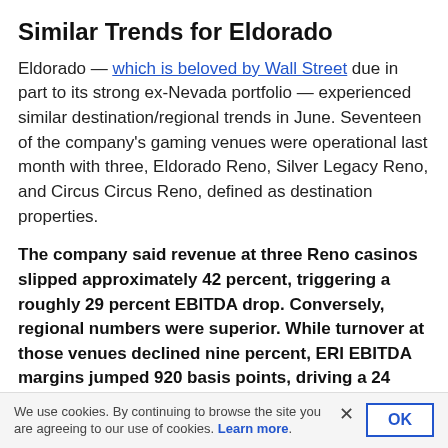Similar Trends for Eldorado
Eldorado — which is beloved by Wall Street due in part to its strong ex-Nevada portfolio — experienced similar destination/regional trends in June. Seventeen of the company's gaming venues were operational last month with three, Eldorado Reno, Silver Legacy Reno, and Circus Circus Reno, defined as destination properties.
The company said revenue at three Reno casinos slipped approximately 42 percent, triggering a roughly 29 percent EBITDA drop. Conversely, regional numbers were superior. While turnover at those venues declined nine percent, ERI EBITDA margins jumped 920 basis points, driving a 24 percent rise in operating income.
We use cookies. By continuing to browse the site you are agreeing to our use of cookies. Learn more.